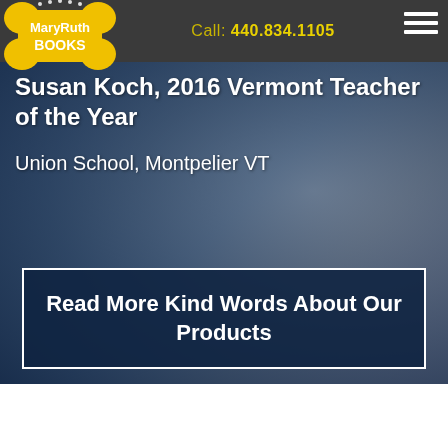MaryRuth BOOKS — Call: 440.834.1105
Susan Koch, 2016 Vermont Teacher of the Year
Union School, Montpelier VT
Read More Kind Words About Our Products